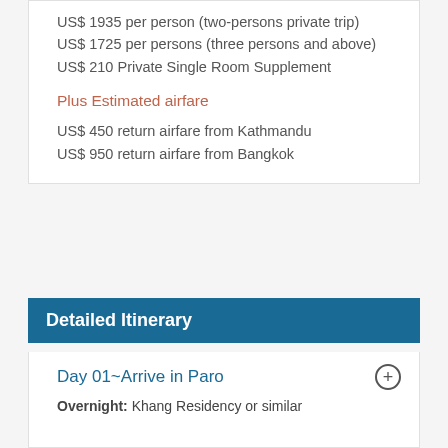US$ 1935 per person (two-persons private trip)
US$ 1725 per persons (three persons and above)
US$ 210 Private Single Room Supplement
Plus Estimated airfare
US$ 450 return airfare from Kathmandu
US$ 950 return airfare from Bangkok
Detailed Itinerary
Day 01~Arrive in Paro
Overnight: Khang Residency or similar